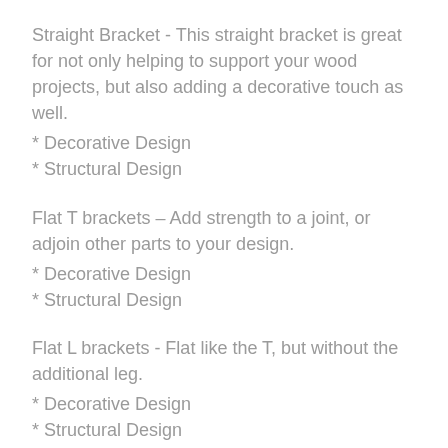Straight Bracket - This straight bracket is great for not only helping to support your wood projects, but also adding a decorative touch as well.
* Decorative Design
* Structural Design
Flat T brackets – Add strength to a joint, or adjoin other parts to your design.
* Decorative Design
* Structural Design
Flat L brackets - Flat like the T, but without the additional leg.
* Decorative Design
* Structural Design
X Brackets - Can be used to cross multiple pieces to add strength, or for a nice decorative finish.